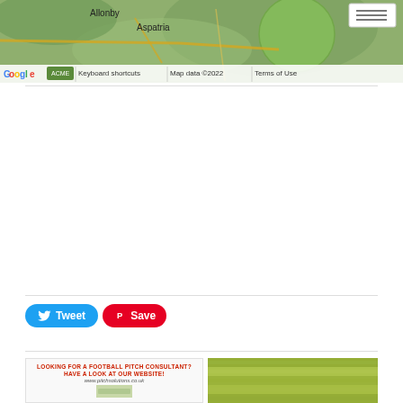[Figure (map): Google Maps screenshot showing area around Allonby and Aspatria with green terrain overlay and a circular highlighted region. Map footer shows Google logo, keyboard shortcuts, Map data ©2022, and Terms of Use.]
[Figure (screenshot): Tweet and Save (Pinterest) social sharing buttons]
[Figure (photo): Advertisement banner at the bottom: left side shows 'Looking for a football pitch consultant? Have a look at our website! www.pitchsolutions.co.uk' with a small image, right side shows a close-up photo of grass/turf.]